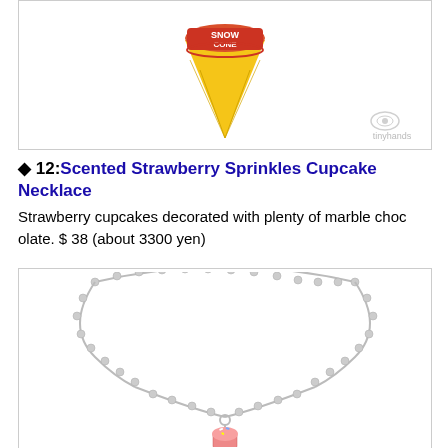[Figure (photo): Snow cone ice cream cone toy with yellow cone and red/purple Snow Cone label on white background, with tinyhands watermark]
◆ 12: Scented Strawberry Sprinkles Cupcake Necklace
Strawberry cupcakes decorated with plenty of marble chocolate. $ 38 (about 3300 yen)
[Figure (photo): Silver ball chain necklace with a small strawberry cupcake charm pendant, on white background]